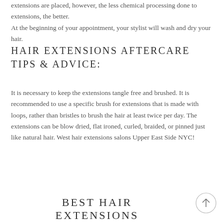extensions are placed, however, the less chemical processing done to extensions, the better. At the beginning of your appointment, your stylist will wash and dry your hair.
HAIR EXTENSIONS AFTERCARE TIPS & ADVICE:
It is necessary to keep the extensions tangle free and brushed. It is recommended to use a specific brush for extensions that is made with loops, rather than bristles to brush the hair at least twice per day. The extensions can be blow dried, flat ironed, curled, braided, or pinned just like natural hair. West hair extensions salons Upper East Side NYC!
BEST HAIR EXTENSIONS